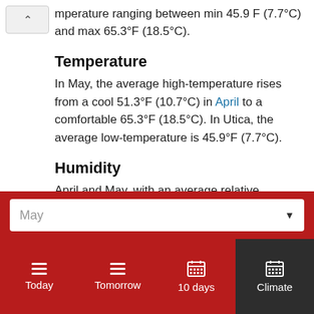mperature ranging between min 45.9 F (7.7°C) and max 65.3°F (18.5°C).
Temperature
In May, the average high-temperature rises from a cool 51.3°F (10.7°C) in April to a comfortable 65.3°F (18.5°C). In Utica, the average low-temperature is 45.9°F (7.7°C).
Humidity
April and May, with an average relative humidity of 79%, are the least humid months in Utica.
May
Today | Tomorrow | 10 days | Climate